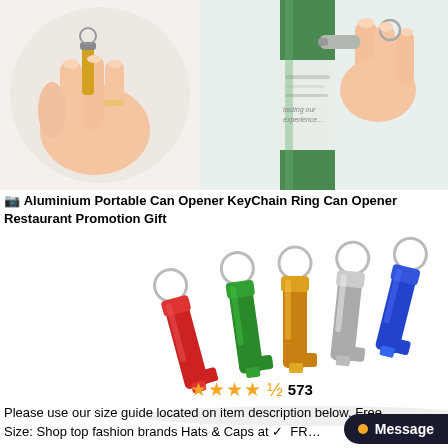[Figure (photo): Two product images side by side at top: left shows a hand using a keychain bottle opener on a can; right shows a beer bottle being opened with a keychain opener held in hand]
Aluminium Portable Can Opener KeyChain Ring Can Opener Restaurant Promotion Gift
[Figure (photo): Five aluminium keychain bottle openers in different colors: red, green, gold/yellow, silver, and blue, each with a metal keyring attached]
★★★★½ 573
Please use our size guide located on item description below. Free Size: Shop top fashion brands Hats & Caps at ✓ FR... Y